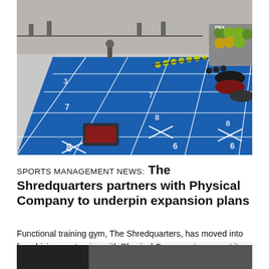[Figure (photo): Interior of a functional training gym with a blue turf floor marked with yard lines and numbers, barbells and kettlebells arranged on the turf, weight racks on the right side with PBX medicine balls, and a person visible in the background.]
SPORTS MANAGEMENT NEWS: The Shredquarters partners with Physical Company to underpin expansion plans
Functional training gym, The Shredquarters, has moved into franchising, partnering with Physical Company to support its rapid growth.
[Figure (photo): Partial view of another image at the bottom of the page, mostly dark/grey.]